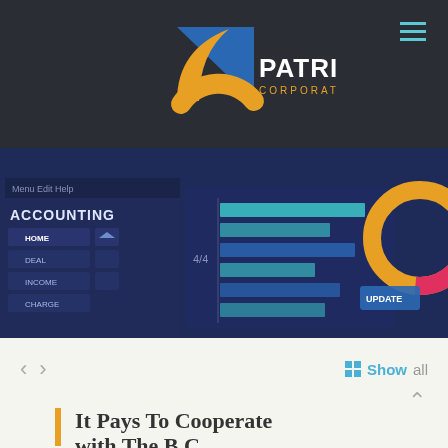[Figure (logo): Patrina Corporation logo — blue triangle with orange arc beneath, white text PATRINA above CORPORATION]
[Figure (screenshot): Dark blue background screenshot of an accounting software interface showing a bar chart and sidebar menu with HOME, DEAL, INCOME options. Text visible: ACCOUNTING, Menu Edit Help, 4/4, UPDATE.]
< >  Show all
It Pays To Cooperate with The B.C.